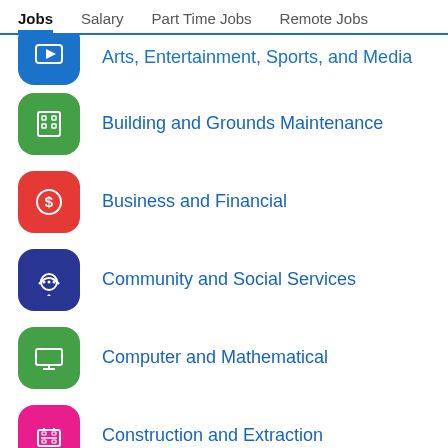Jobs  Salary  Part Time Jobs  Remote Jobs
Arts, Entertainment, Sports, and Media
Building and Grounds Maintenance
Business and Financial
Community and Social Services
Computer and Mathematical
Construction and Extraction